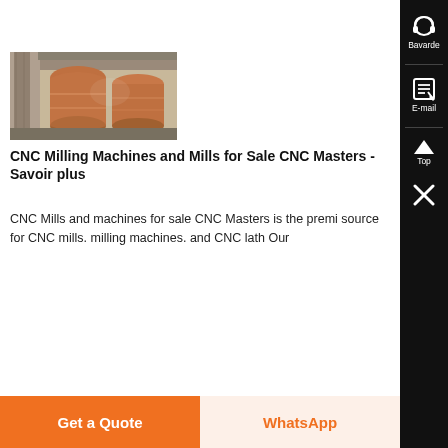[Figure (photo): Industrial photo showing large cylindrical tanks/vessels inside a concrete structure, with brownish-orange surfaces and concrete pillars visible]
CNC Milling Machines and Mills for Sale CNC Masters - Savoir plus
CNC Mills and machines for sale CNC Masters is the premi source for CNC mills. milling machines. and CNC lath Our